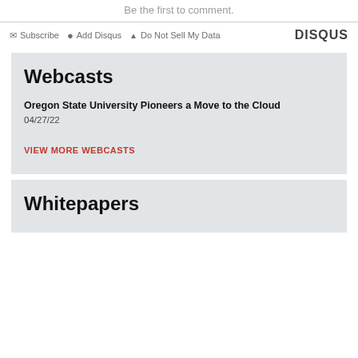Be the first to comment.
✉ Subscribe  ● Add Disqus  ▲ Do Not Sell My Data   DISQUS
Webcasts
Oregon State University Pioneers a Move to the Cloud
04/27/22
VIEW MORE WEBCASTS
Whitepapers